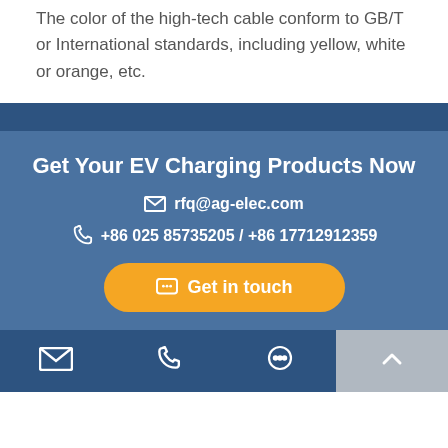The color of the high-tech cable conform to GB/T or International standards, including yellow, white or orange, etc.
Get Your EV Charging Products Now
✉ rfq@ag-elec.com
☎ +86 025 85735205 / +86 17712912359
Get in touch
Navigation bar with email, phone, chat, and back-to-top icons